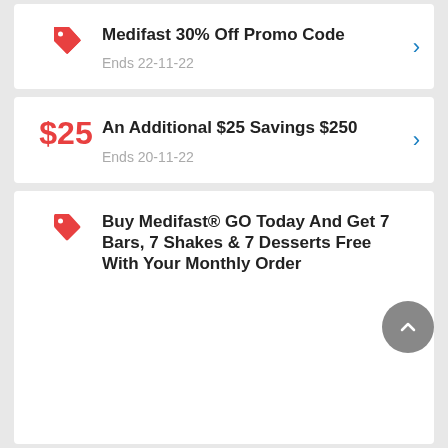Medifast 30% Off Promo Code — Ends 22-11-22
An Additional $25 Savings $250 — Ends 20-11-22
Buy Medifast® GO Today And Get 7 Bars, 7 Shakes & 7 Desserts Free With Your Monthly Order